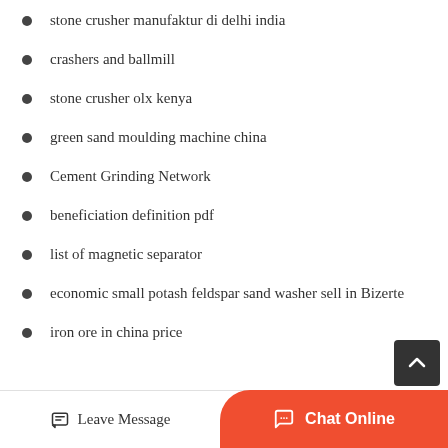stone crusher manufaktur di delhi india
crashers and ballmill
stone crusher olx kenya
green sand moulding machine china
Cement Grinding Network
beneficiation definition pdf
list of magnetic separator
economic small potash feldspar sand washer sell in Bizerte
iron ore in china price